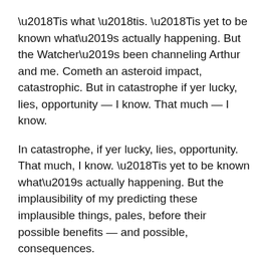‘Tis what ‘tis. ‘Tis yet to be known what’s actually happening. But the Watcher’s been channeling Arthur and me. Cometh an asteroid impact, catastrophic. But in catastrophe if yer lucky, lies, opportunity — I know. That much — I know.
In catastrophe, if yer lucky, lies, opportunity. That much, I know. ‘Tis yet to be known what’s actually happening. But the implausibility of my predicting these implausible things, pales, before their possible benefits — and possible, consequences.
The implausibility of my predicting these implausible things pales before their possible benefits and their possible consequences. Predictions; they’re coincidences, by and large. But my predictions — bring — consequences.